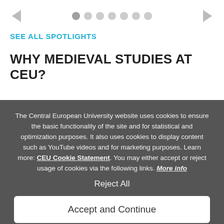← ● ○ ○ ○ ○ ○ ○ →
SEE ALL SPOTLIGHTS
WHY MEDIEVAL STUDIES AT CEU?
The Central European University website uses cookies to ensure the basic functionality of the site and for statistical and optimization purposes. It also uses cookies to display content such as YouTube videos and for marketing purposes. Learn more: CEU Cookie Statement. You may either accept or reject usage of cookies via the following links. More info
Reject All
Accept and Continue